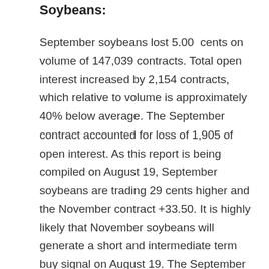Soybeans:
September soybeans lost 5.00 cents on volume of 147,039 contracts. Total open interest increased by 2,154 contracts, which relative to volume is approximately 40% below average. The September contract accounted for loss of 1,905 of open interest. As this report is being compiled on August 19, September soybeans are trading 29 cents higher and the November contract +33.50. It is highly likely that November soybeans will generate a short and intermediate term buy signal on August 19. The September contract will likely generate a short-term buy signal. We have been warning clients to avoid the short side of the market because the critical growing season is just ahead and supplies remain tight. Despite this, managed money remains not long